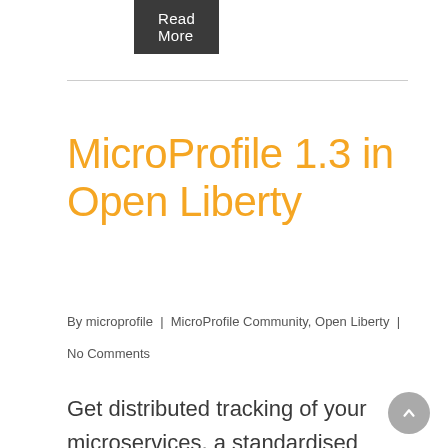[Figure (other): Read More button with dark grey background]
MicroProfile 1.3 in Open Liberty
By microprofile | MicroProfile Community, Open Liberty | No Comments
Get distributed tracking of your microservices, a standardised way (through OpenAPI) to describe your RESTful applications, and a type-safe